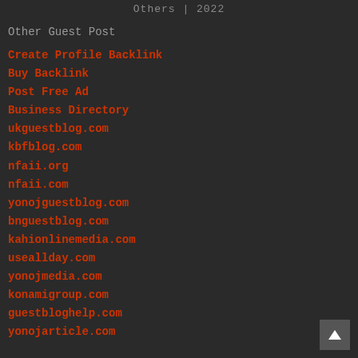Others | 2022
Other Guest Post
Create Profile Backlink
Buy Backlink
Post Free Ad
Business Directory
ukguestblog.com
kbfblog.com
nfaii.org
nfaii.com
yonojguestblog.com
bnguestblog.com
kahionlinemedia.com
useallday.com
yonojmedia.com
konamigroup.com
guestbloghelp.com
yonojarticle.com